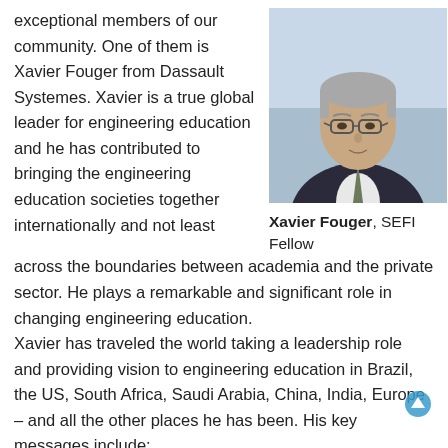exceptional members of our community. One of them is Xavier Fouger from Dassault Systemes. Xavier is a true global leader for engineering education and he has contributed to bringing the engineering education societies together internationally and not least across the boundaries between academia and the private sector. He plays a remarkable and significant role in changing engineering education.
[Figure (photo): Portrait photo of Xavier Fouger, a middle-aged man with grey hair and glasses, wearing a dark suit and tie.]
Xavier Fouger, SEFI Fellow
Xavier has traveled the world taking a leadership role and providing vision to engineering education in Brazil, the US, South Africa, Saudi Arabia, China, India, Europe – and all the other places he has been. His key messages include:
Engineering has to be understood as systems,
engineering is collaborative,